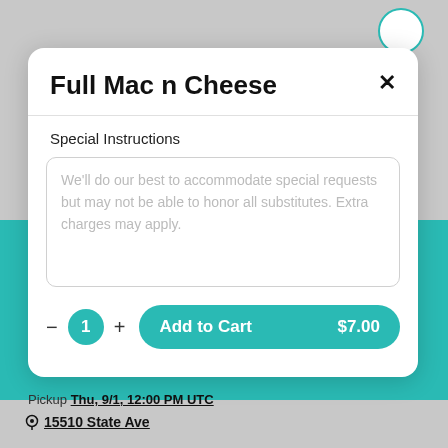Full Mac n Cheese
Special Instructions
We'll do our best to accommodate special requests but may not be able to honor all substitutes. Extra charges may apply.
1
Add to Cart  $7.00
Pickup Thu, 9/1, 12:00 PM UTC
15510 State Ave